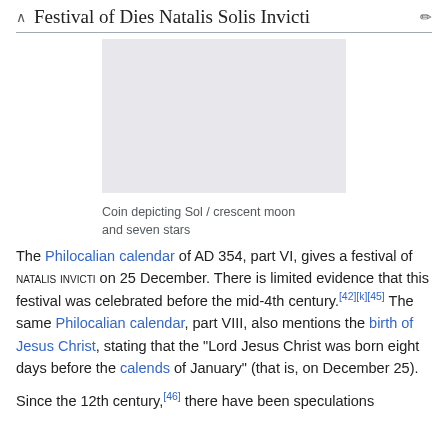Festival of Dies Natalis Solis Invicti
[Figure (photo): Coin depicting Sol / crescent moon and seven stars — shown as a gray placeholder rectangle]
Coin depicting Sol / crescent moon and seven stars
The Philocalian calendar of AD 354, part VI, gives a festival of NATALIS INVICTI on 25 December. There is limited evidence that this festival was celebrated before the mid-4th century.[42][k][45] The same Philocalian calendar, part VIII, also mentions the birth of Jesus Christ, stating that the "Lord Jesus Christ was born eight days before the calends of January" (that is, on December 25).
Since the 12th century,[46] there have been speculations